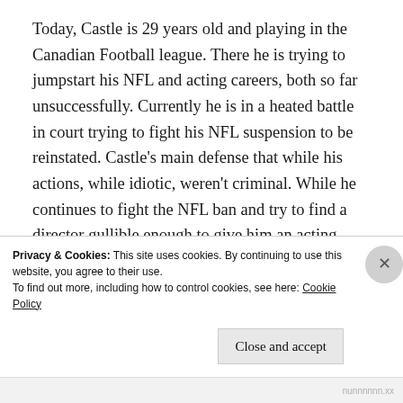Today, Castle is 29 years old and playing in the Canadian Football league. There he is trying to jumpstart his NFL and acting careers, both so far unsuccessfully. Currently he is in a heated battle in court trying to fight his NFL suspension to be reinstated. Castle's main defense that while his actions, while idiotic, weren't criminal. While he continues to fight the NFL ban and try to find a director gullible enough to give him an acting role, Castle has continues to play in the Canadian Football League with the Saskatchewan Rough Riders. There, he has led them to
Privacy & Cookies: This site uses cookies. By continuing to use this website, you agree to their use.
To find out more, including how to control cookies, see here: Cookie Policy
Close and accept
nunnnnnn.xx